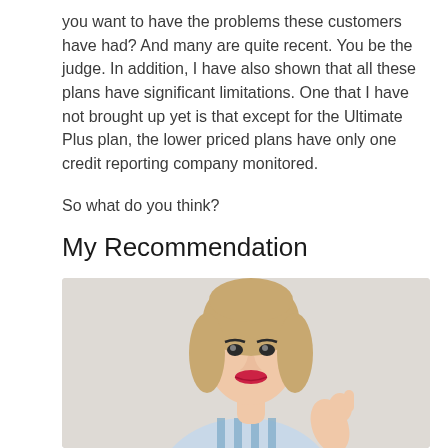you want to have the problems these customers have had? And many are quite recent. You be the judge. In addition, I have also shown that all these plans have significant limitations. One that I have not brought up yet is that except for the Ultimate Plus plan, the lower priced plans have only one credit reporting company monitored.

So what do you think?
My Recommendation
[Figure (photo): A woman with blonde wavy hair, wearing a blue and white striped shirt, giving a thumbs up gesture, photographed against a light gray background.]